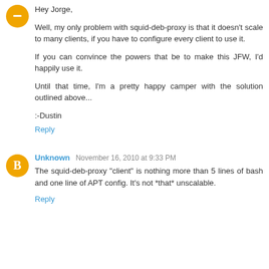[Figure (illustration): Orange circular avatar icon with a minus/blogger B symbol]
Hey Jorge,

Well, my only problem with squid-deb-proxy is that it doesn't scale to many clients, if you have to configure every client to use it.

If you can convince the powers that be to make this JFW, I'd happily use it.

Until that time, I'm a pretty happy camper with the solution outlined above...

:-Dustin
Reply
[Figure (illustration): Orange circular avatar icon with a blogger B symbol]
Unknown November 16, 2010 at 9:33 PM
The squid-deb-proxy "client" is nothing more than 5 lines of bash and one line of APT config. It's not *that* unscalable.
Reply